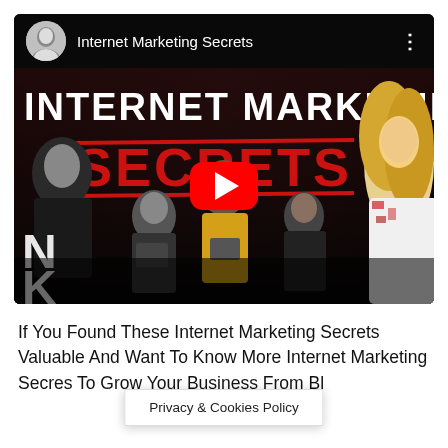[Figure (screenshot): YouTube video player thumbnail showing 'Internet Marketing Secrets' channel with a man in the channel avatar. The video thumbnail shows bold white text 'INTERNET MARKETING' at the top, large red bold text 'SECRETS' across the middle with two red horizontal lines, overlaid on a dark scene with multiple people seated with devices. A man on the left and a woman with blonde hair on the right. A red YouTube play button is centered on the thumbnail. Three vertical dots menu icon is at top right.]
If You Found These Internet Marketing Secrets Valuable And Want To Know Mo[re Internet Marketing Secr]es To Grow Your Business From Bl...
Privacy & Cookies Policy